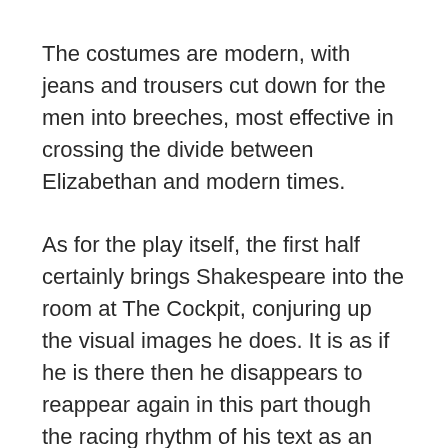The costumes are modern, with jeans and trousers cut down for the men into breeches, most effective in crossing the divide between Elizabethan and modern times.
As for the play itself, the first half certainly brings Shakespeare into the room at The Cockpit, conjuring up the visual images he does. It is as if he is there then he disappears to reappear again in this part though the racing rhythm of his text as an entity is missing.
In the second half, after the interval at The Cockpit, it is as if the language has been largely cut down, almost to an abbreviated outline but with